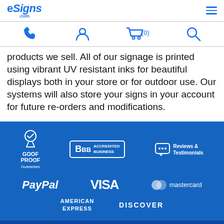eSigns.com
[Figure (screenshot): Navigation icons: phone, user/account, cart with (0), and search]
products we sell. All of our signage is printed using vibrant UV resistant inks for beautiful displays both in your store or for outdoor use. Our systems will also store your signs in your account for future re-orders and modifications.
[Figure (infographic): Footer section with blue background containing trust badges (Goof Proof Guarantee, BBB Accredited Business, Reviews & Testimonials) and payment logos (PayPal, VISA, Mastercard, American Express, Discover)]